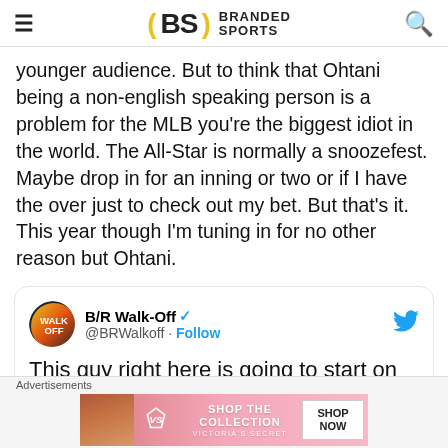Branded Sports
younger audience. But to think that Ohtani being a non-english speaking person is a problem for the MLB you're the biggest idiot in the world. The All-Star is normally a snoozefest. Maybe drop in for an inning or two or if I have the over just to check out my bet. But that's it. This year though I'm tuning in for no other reason but Ohtani.
[Figure (screenshot): Embedded tweet from @BRWalkoff (B/R Walk-Off, verified) showing partial tweet text: 'This guy right here is going to start on the mound and be the leadoff hitter for']
Advertisements
[Figure (other): Victoria's Secret advertisement banner: SHOP THE COLLECTION / SHOP NOW]